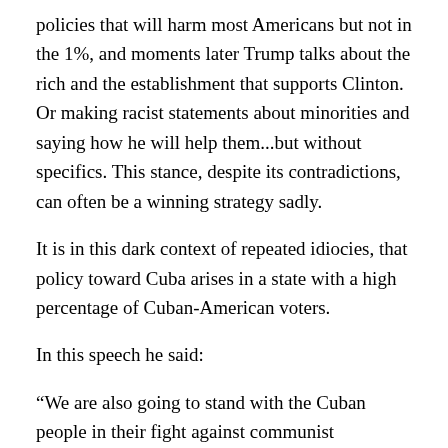policies that will harm most Americans but not in the 1%, and moments later Trump talks about the rich and the establishment that supports Clinton. Or making racist statements about minorities and saying how he will help them...but without specifics. This stance, despite its contradictions, can often be a winning strategy sadly.
It is in this dark context of repeated idiocies, that policy toward Cuba arises in a state with a high percentage of Cuban-American voters.
In this speech he said:
“We are also going to stand with the Cuban people in their fight against communist oppression.
The President’s one-sided deal for Cuba benefits only the